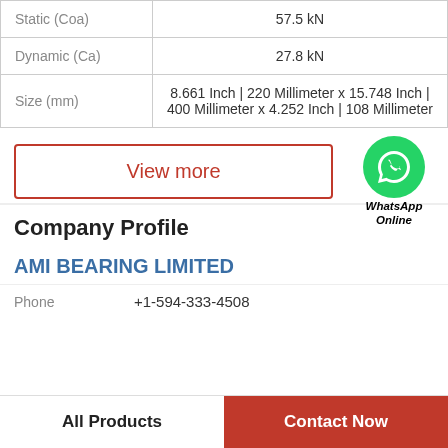| Static (Coa) | 57.5 kN |
| Dynamic (Ca) | 27.8 kN |
| Size (mm) | 8.661 Inch | 220 Millimeter x 15.748 Inch | 400 Millimeter x 4.252 Inch | 108 Millimeter |
[Figure (illustration): WhatsApp Online badge with green circle and phone icon]
View more
Company Profile
AMI BEARING LIMITED
Phone   +1-594-333-4508
All Products   Contact Now